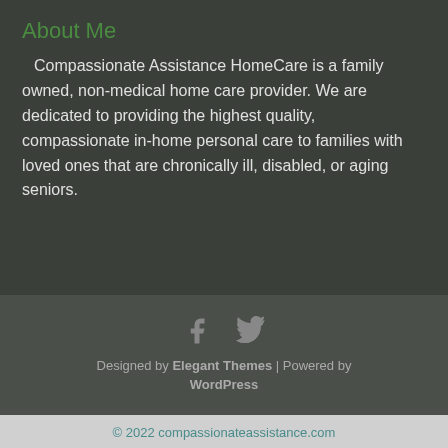About Me
Compassionate Assistance HomeCare is a family owned, non-medical home care provider. We are dedicated to providing the highest quality, compassionate in-home personal care to families with loved ones that are chronically ill, disabled, or aging seniors.
[Figure (illustration): Social media icons: Facebook and Twitter icons displayed in grey]
Designed by Elegant Themes | Powered by WordPress
© 2022 compassionateassistance.com